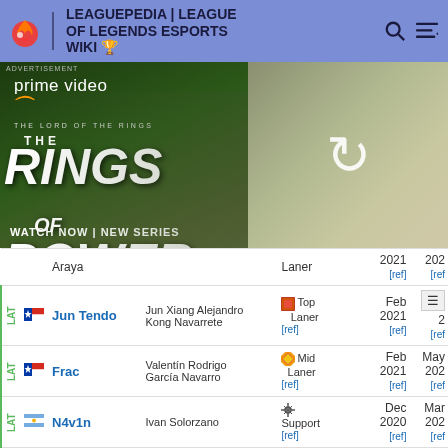LEAGUEPEDIA | LEAGUE OF LEGENDS ESPORTS WIKI
[Figure (screenshot): Amazon Prime Video advertisement for 'The Lord of the Rings: The Rings of Power' - WATCH NOW | NEW SERIES]
| Region | Flag | Player | Real Name | Role | Date From | Date To |
| --- | --- | --- | --- | --- | --- | --- |
|  |  | Araya |  | Laner | 2021 [ref] | 202 [ref] |
| LAT | CL | Jun Tendo | Jun Xiang Alejandro Kong Navarrete | Top Laner | Feb 2021 [ref] | 2 [ref] |
| LAT | CL | Frac | Valentín Rodrigo García Navarro | Mid Laner | Feb 2021 [ref] | May 202 [ref] |
| LAT | AR | N4v1n | Ivan Solorzano | Support | Dec 2020 [ref] | Mar 202 [ref] |